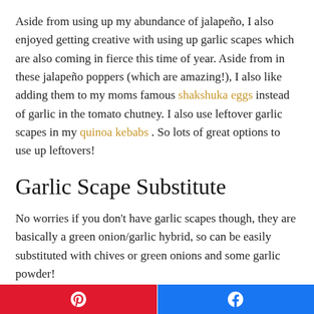Aside from using up my abundance of jalapeño, I also enjoyed getting creative with using up garlic scapes which are also coming in fierce this time of year. Aside from in these jalapeño poppers (which are amazing!), I also like adding them to my moms famous shakshuka eggs instead of garlic in the tomato chutney. I also use leftover garlic scapes in my quinoa kebabs . So lots of great options to use up leftovers!
Garlic Scape Substitute
No worries if you don't have garlic scapes though, they are basically a green onion/garlic hybrid, so can be easily substituted with chives or green onions and some garlic powder!
Best way to cut a Jalapeño